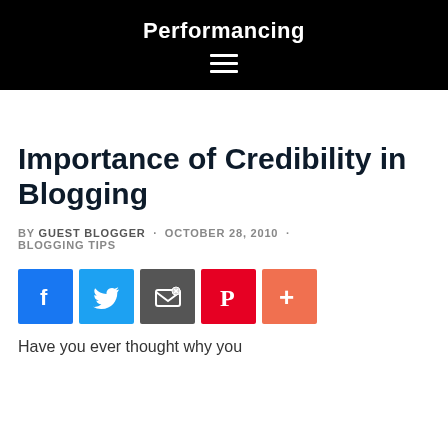Performancing
Importance of Credibility in Blogging
BY GUEST BLOGGER · OCTOBER 28, 2010 · BLOGGING TIPS
[Figure (other): Social sharing buttons: Facebook, Twitter, Email/Share, Pinterest, More (+)]
Have you ever thought why you